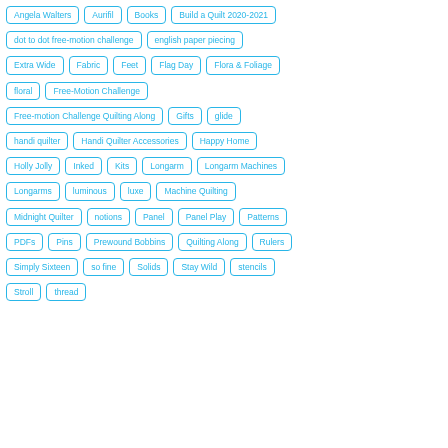Angela Walters
Aurifil
Books
Build a Quilt 2020-2021
dot to dot free-motion challenge
english paper piecing
Extra Wide
Fabric
Feet
Flag Day
Flora & Foliage
floral
Free-Motion Challenge
Free-motion Challenge Quilting Along
Gifts
glide
handi quilter
Handi Quilter Accessories
Happy Home
Holly Jolly
Inked
Kits
Longarm
Longarm Machines
Longarms
luminous
luxe
Machine Quilting
Midnight Quilter
notions
Panel
Panel Play
Patterns
PDFs
Pins
Prewound Bobbins
Quilting Along
Rulers
Simply Sixteen
so fine
Solids
Stay Wild
stencils
Stroll
thread